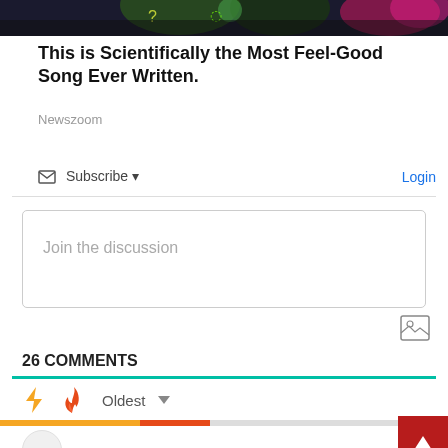[Figure (photo): Concert/performance photo showing colorful stage lighting with green and pink tones, partial view of performers]
This is Scientifically the Most Feel-Good Song Ever Written.
Newszoom
Subscribe ▾
Login
Join the discussion
26 COMMENTS
Oldest ▾